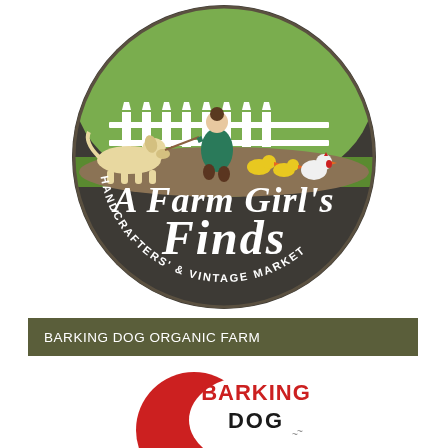[Figure (logo): Circular logo for 'A Farm Girl's Finds - Handcrafters' & Vintage Market'. Dark brown/charcoal circular badge with white script text. Top portion shows illustrated farm scene with a woman in green dress walking a dog, with ducks and a chicken near a white fence and wagon wheel.]
BARKING DOG ORGANIC FARM
[Figure (logo): Circular logo for 'Barking Dog' organic farm. Features a red circle with bold red and black lettering reading 'BARKING DOG' with stylized dog imagery.]